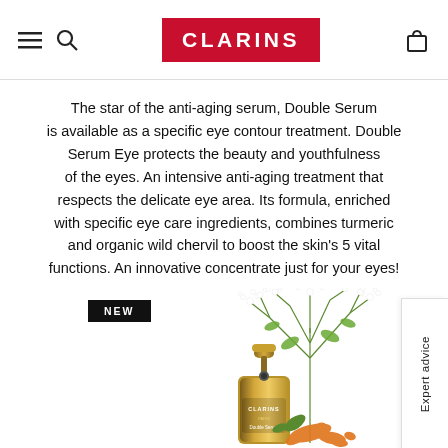CLARINS (logo with navigation icons)
The star of the anti-aging serum, Double Serum is available as a specific eye contour treatment. Double Serum Eye protects the beauty and youthfulness of the eyes. An intensive anti-aging treatment that respects the delicate eye area. Its formula, enriched with specific eye care ingredients, combines turmeric and organic wild chervil to boost the skin's 5 vital functions. An innovative concentrate just for your eyes!
[Figure (photo): Product photo of Clarins Double Serum Eye bottle with pump, surrounded by green wild chervil herb and orange turmeric root. A black 'NEW' badge is shown in the upper left of the product image area. An 'Expert advice' vertical tab is on the right edge.]